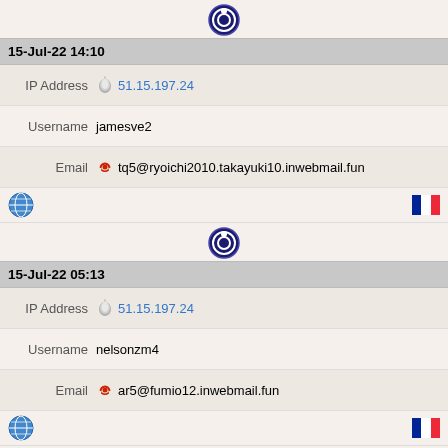[Figure (other): Tor browser icon (circular blue/white shield logo)]
15-Jul-22 14:10
IP Address 51.15.197.24
Username jamesve2
Email tq5@ryoichi2010.takayuki10.inwebmail.fun
[Figure (other): Globe icon and French flag]
[Figure (other): Tor browser icon]
15-Jul-22 05:13
IP Address 51.15.197.24
Username nelsonzm4
Email ar5@fumio12.inwebmail.fun
[Figure (other): Globe icon and French flag]
[Figure (other): Tor browser icon]
15-Jul-22 00:19
IP Address 51.15.197.24
Username jimmiepl11
Email cliftonmy2@atsushi35.toshikokaori.xyz